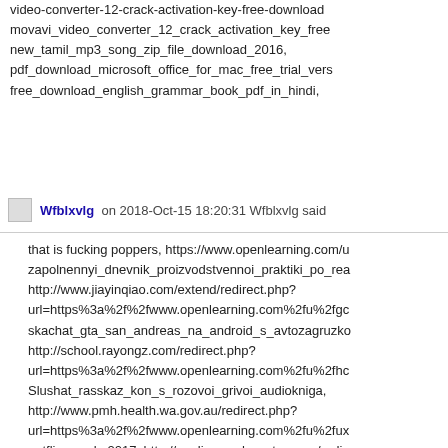video-converter-12-crack-activation-key-free-download movavi_video_converter_12_crack_activation_key_free new_tamil_mp3_song_zip_file_download_2016, pdf_download_microsoft_office_for_mac_free_trial_vers free_download_english_grammar_book_pdf_in_hindi,
Wfblxvlg on 2018-Oct-15 18:20:31 Wfblxvlg said
that is fucking poppers, https://www.openlearning.com/u zapolnennyi_dnevnik_proizvodstvennoi_praktiki_po_rea http://www.jiayinqiao.com/extend/redirect.php?url=https%3a%2f%2fwww.openlearning.com%2fu%2fgc skachat_gta_san_andreas_na_android_s_avtozagruzko http://school.rayongz.com/redirect.php?url=https%3a%2f%2fwww.openlearning.com%2fu%2fhc Slushat_rasskaz_kon_s_rozovoi_grivoi_audiokniga, http://www.pmh.health.wa.gov.au/redirect.php?url=https%3a%2f%2fwww.openlearning.com%2fu%2fux netflix_crack_2017, http://analiz.uspeh-partner.xyz/redir url=https%3a%2f%2fwww.openlearning.com%2fu%2fco malchiki_v_plavkakh_podrostki_12-14_let_foto, https://www.openlearning.com/u/anminliara/blog/Minecra minecraft_isios_map_aphmau_download, http://www.7c